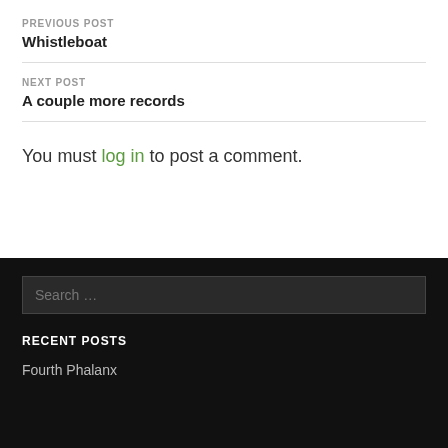PREVIOUS POST
Whistleboat
NEXT POST
A couple more records
You must log in to post a comment.
Search ...
RECENT POSTS
Fourth Phalanx